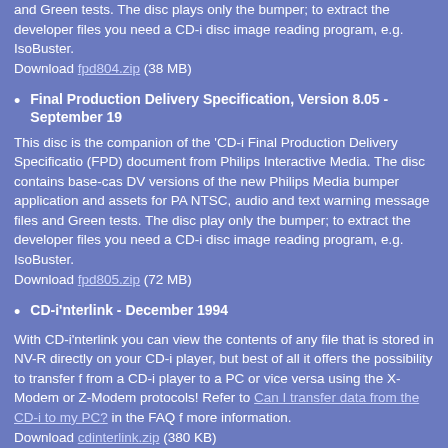and Green tests. The disc plays only the bumper; to extract the developer files you need a CD-i disc image reading program, e.g. IsoBuster.
Download fpd804.zip (38 MB)
Final Production Delivery Specification, Version 8.05 - September 19...
This disc is the companion of the 'CD-i Final Production Delivery Specification (FPD) document from Philips Interactive Media. The disc contains base-case DV versions of the new Philips Media bumper application and assets for PAL, NTSC, audio and text warning message files and Green tests. The disc plays only the bumper; to extract the developer files you need a CD-i disc image reading program, e.g. IsoBuster.
Download fpd805.zip (72 MB)
CD-i'nterlink - December 1994
With CD-i'nterlink you can view the contents of any file that is stored in NV-R directly on your CD-i player, but best of all it offers the possibility to transfer f from a CD-i player to a PC or vice versa using the X-Modem or Z-Modem protocols! Refer to Can I transfer data from the CD-i to my PC? in the FAQ f more information.
Download cdinterlink.zip (380 KB)
CDI 660/670 Keydisc, Version 1.3 - September 1997
With this disc, you can customize the startup message of the CDI 660 and C 670 player, disable the playback of certain CD-i or CD-Audio discs, and set t player's startup delay time. Please note that this disc can only be used in conjuction with the CDI 660 and CDI 670 players! Refer to How can I enter t features of the CDI 660/670 key disc? in the FAQ for more information.